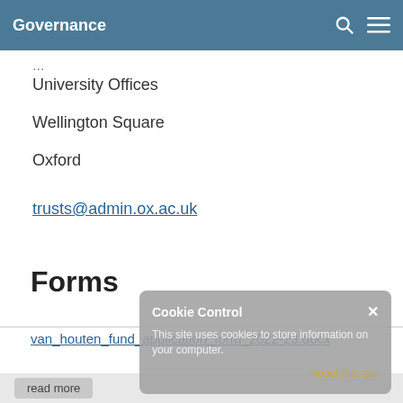Governance
University Offices
Wellington Square
Oxford
trusts@admin.ox.ac.uk
Forms
van_houten_fund_application_form_2022-23.docx
Cookie Control
This site uses cookies to store information on your computer.
About this tool
read more